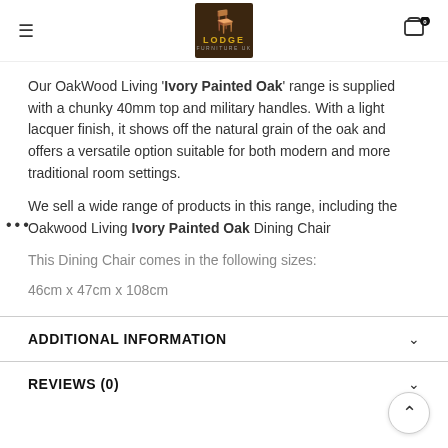Lodge Furniture UK - header with hamburger menu and cart
Our OakWood Living 'Ivory Painted Oak' range is supplied with a chunky 40mm top and military handles. With a light lacquer finish, it shows off the natural grain of the oak and offers a versatile option suitable for both modern and more traditional room settings.
We sell a wide range of products in this range, including the Oakwood Living Ivory Painted Oak Dining Chair
This Dining Chair comes in the following sizes:
46cm x 47cm x 108cm
ADDITIONAL INFORMATION
REVIEWS (0)